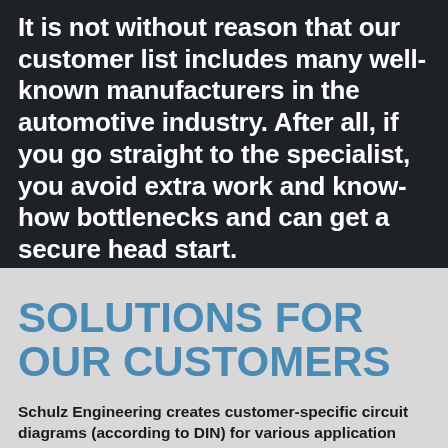It is not without reason that our customer list includes many well-known manufacturers in the automotive industry. After all, if you go straight to the specialist, you avoid extra work and know-how bottlenecks and can get a secure head start.
SOLUTIONS FOR OUR CUSTOMERS
Schulz Engineering creates customer-specific circuit diagrams (according to DIN) for various application areas